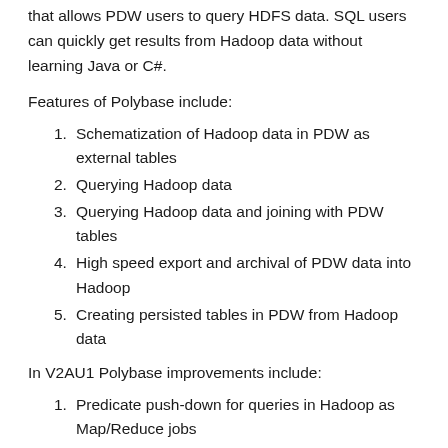that allows PDW users to query HDFS data. SQL users can quickly get results from Hadoop data without learning Java or C#.
Features of Polybase include:
1. Schematization of Hadoop data in PDW as external tables
2. Querying Hadoop data
3. Querying Hadoop data and joining with PDW tables
4. High speed export and archival of PDW data into Hadoop
5. Creating persisted tables in PDW from Hadoop data
In V2AU1 Polybase improvements include:
1. Predicate push-down for queries in Hadoop as Map/Reduce jobs
2. Statistics on Hadoop data in PDW